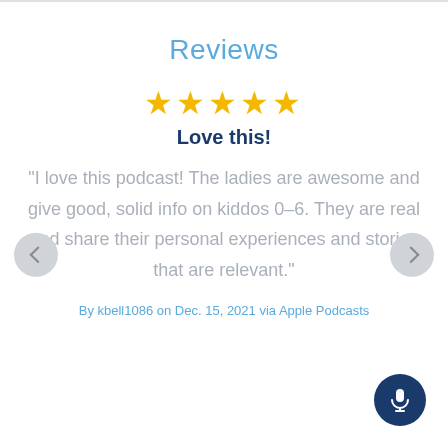Reviews
[Figure (other): Five gold star rating icons]
Love this!
"I love this podcast! The ladies are awesome and give good, solid info on kiddos 0-6. They are real and share their personal experiences and stories that are relevant."
By kbell1086 on Dec. 15, 2021 via Apple Podcasts